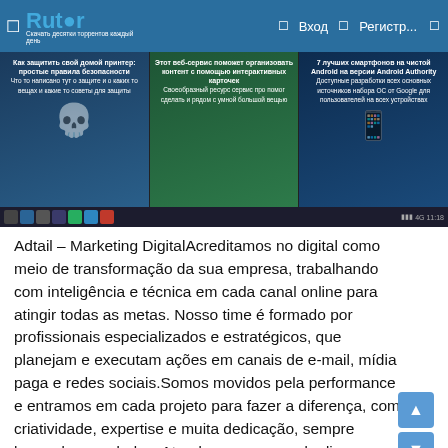Rutor — Вход  Регистр...
[Figure (screenshot): Screenshot of a website showing three article cards with Russian text on dark backgrounds (blue, green, dark), and a Windows taskbar below.]
Adtail – Marketing DigitalAcreditamos no digital como meio de transformação da sua empresa, trabalhando com inteligência e técnica em cada canal online para atingir todas as metas. Nosso time é formado por profissionais especializados e estratégicos, que planejam e executam ações em canais de e-mail, mídia paga e redes sociais.Somos movidos pela performance e entramos em cada projeto para fazer a diferença, com criatividade, expertise e muita dedicação, sempre baseados em dados. Atendemos marcas de diversos segmentos e fases dentro do digital, desde o gerenciamento de budgets em mídias específicas até o desenvolvimento de estratégias multicanais.
Estamos sempre abraçando mudanças e inovações de um mercado que se transforma em grande velocidade.Em sintonia com a evolução das tecnologias, tendências e cenários, nosso